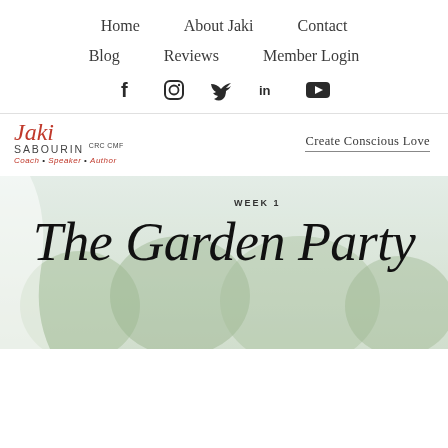Home | About Jaki | Contact
Blog | Reviews | Member Login
[Figure (infographic): Social media icons row: Facebook, Instagram, Twitter, LinkedIn, YouTube]
[Figure (logo): Jaki Sabourin CRC CMF logo with script name, tagline Coach Speaker Author in red]
Create Conscious Love
[Figure (photo): Garden party banner image with cursive text 'WEEK 1 The Garden Party' overlaid on a soft outdoor garden background]